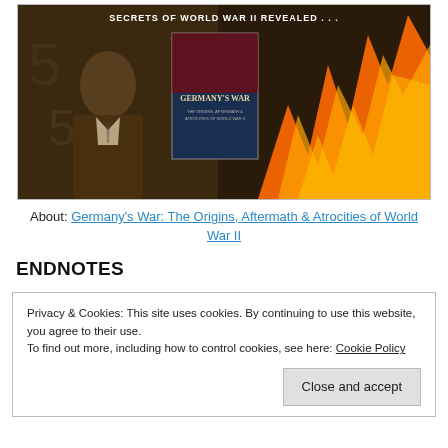[Figure (photo): Composite image showing a historical figure in uniform on the left, a book cover in the center titled 'Germany's War', fire/flames on the right, and text at the top reading 'SECRETS OF WORLD WAR II REVEALED...']
About: Germany's War: The Origins, Aftermath & Atrocities of World War II
ENDNOTES
Privacy & Cookies: This site uses cookies. By continuing to use this website, you agree to their use.
To find out more, including how to control cookies, see here: Cookie Policy
Close and accept